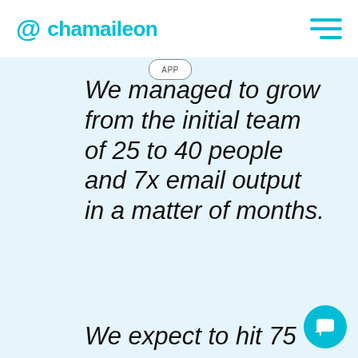@ chamaileon
We managed to grow from the initial team of 25 to 40 people and 7x email output in a matter of months.
We expect to hit 75 team